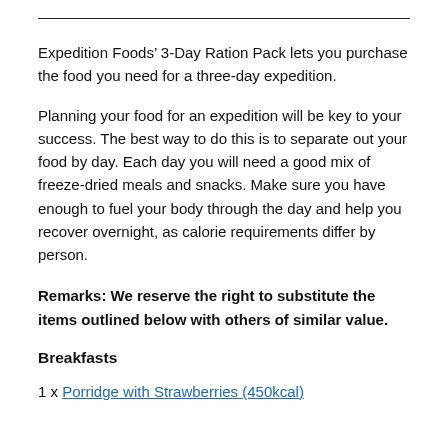Expedition Foods’ 3-Day Ration Pack lets you purchase the food you need for a three-day expedition.
Planning your food for an expedition will be key to your success. The best way to do this is to separate out your food by day. Each day you will need a good mix of freeze-dried meals and snacks. Make sure you have enough to fuel your body through the day and help you recover overnight, as calorie requirements differ by person.
Remarks: We reserve the right to substitute the items outlined below with others of similar value.
Breakfasts
1 x Porridge with Strawberries (450kcal)